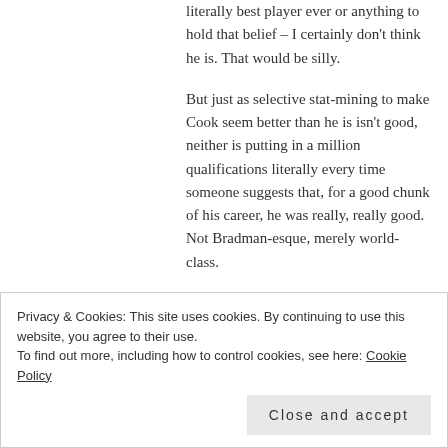literally best player ever or anything to hold that belief – I certainly don't think he is. That would be silly.
But just as selective stat-mining to make Cook seem better than he is isn't good, neither is putting in a million qualifications literally every time someone suggests that, for a good chunk of his career, he was really, really good. Not Bradman-esque, merely world-class.
Privacy & Cookies: This site uses cookies. By continuing to use this website, you agree to their use.
To find out more, including how to control cookies, see here: Cookie Policy